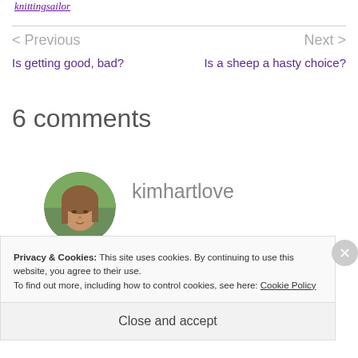knittingsailor
< Previous
Is getting good, bad?
Next >
Is a sheep a hasty choice?
6 comments
[Figure (photo): Circular avatar photo of a woman with brown hair outdoors]
kimhartlove
Privacy & Cookies: This site uses cookies. By continuing to use this website, you agree to their use.
To find out more, including how to control cookies, see here: Cookie Policy
Close and accept